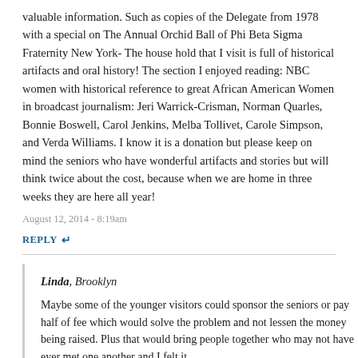valuable information. Such as copies of the Delegate from 1978 with a special on The Annual Orchid Ball of Phi Beta Sigma Fraternity New York- The house hold that I visit is full of historical artifacts and oral history! The section I enjoyed reading: NBC women with historical reference to great African American Women in broadcast journalism: Jeri Warrick-Crisman, Norman Quarles, Bonnie Boswell, Carol Jenkins, Melba Tollivet, Carole Simpson, and Verda Williams. I know it is a donation but please keep on mind the seniors who have wonderful artifacts and stories but will think twice about the cost, because when we are home in three weeks they are here all year!
August 12, 2014 - 8:19am
REPLY
Linda, Brooklyn
Maybe some of the younger visitors could sponsor the seniors or pay half of fee which would solve the problem and not lessen the money being raised. Plus that would bring people together who may not have ever met one another and I felt it